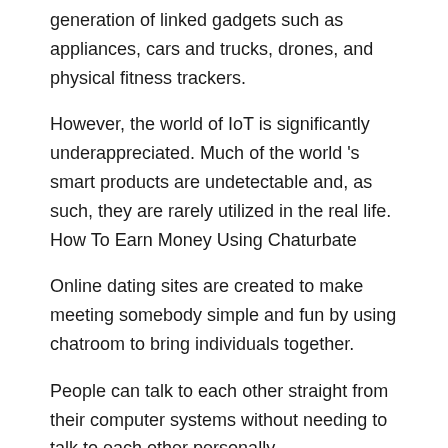generation of linked gadgets such as appliances, cars and trucks, drones, and physical fitness trackers.
However, the world of IoT is significantly underappreciated. Much of the world 's smart products are undetectable and, as such, they are rarely utilized in the real life. How To Earn Money Using Chaturbate
Online dating sites are created to make meeting somebody simple and fun by using chatroom to bring individuals together.
People can talk to each other straight from their computer systems without needing to talk to each other personally.
Numerous users of Chaturbate prefer being able to interact with models on their website. That's one reason why they go to the website frequently.
Other users like to enjoy the videos of live broadcasts. It gives